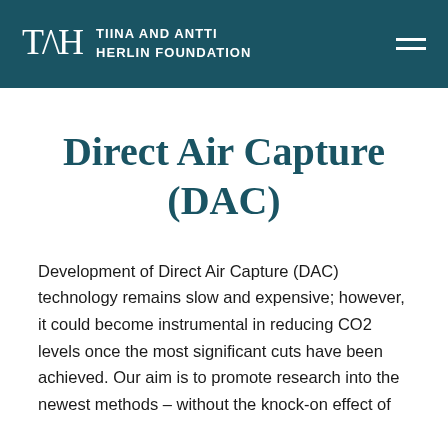TAH TIINA AND ANTTI HERLIN FOUNDATION
Direct Air Capture (DAC)
Development of Direct Air Capture (DAC) technology remains slow and expensive; however, it could become instrumental in reducing CO2 levels once the most significant cuts have been achieved. Our aim is to promote research into the newest methods – without the knock-on effect of